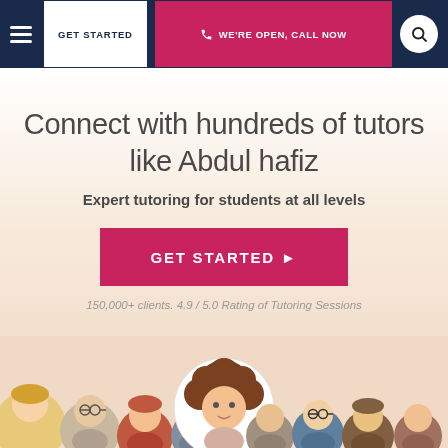GET STARTED | WE'RE OPEN, CALL NOW
Connect with hundreds of tutors like Abdul hafiz
Expert tutoring for students at all levels
GET STARTED ▶
150,000+ clients. 4.9 / 5.0 Rating of Tutoring Sessions
[Figure (illustration): Row of illustrated cartoon tutor/student avatar faces at the bottom of the page]